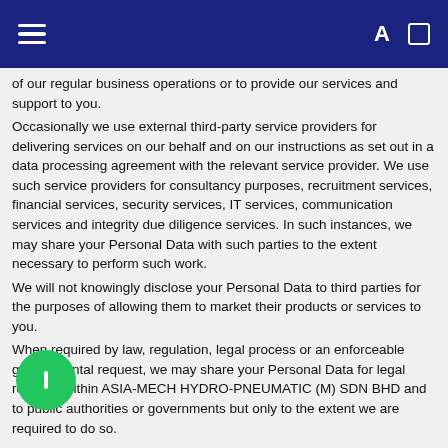≡  A □
of our regular business operations or to provide our services and support to you.
Occasionally we use external third-party service providers for delivering services on our behalf and on our instructions as set out in a data processing agreement with the relevant service provider. We use such service providers for consultancy purposes, recruitment services, financial services, security services, IT services, communication services and integrity due diligence services. In such instances, we may share your Personal Data with such parties to the extent necessary to perform such work.
We will not knowingly disclose your Personal Data to third parties for the purposes of allowing them to market their products or services to you.
When required by law, regulation, legal process or an enforceable governmental request, we may share your Personal Data for legal reasons within ASIA-MECH HYDRO-PNEUMATIC (M) SDN BHD and to public authorities or governments but only to the extent we are required to do so.